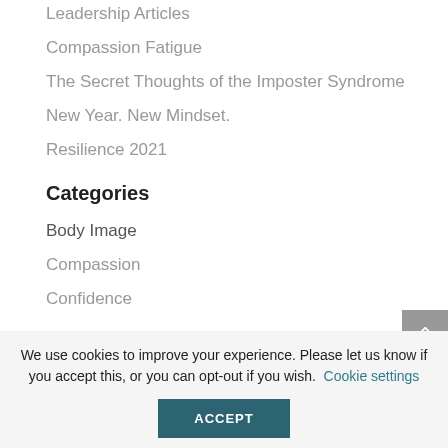Leadership Articles
Compassion Fatigue
The Secret Thoughts of the Imposter Syndrome
New Year. New Mindset.
Resilience 2021
Categories
Body Image
Compassion
Confidence
We use cookies to improve your experience. Please let us know if you accept this, or you can opt-out if you wish. Cookie settings
ACCEPT